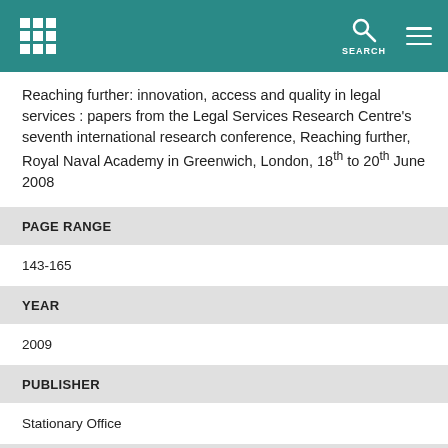Reaching further: innovation, access and quality in legal services : papers from the Legal Services Research Centre's seventh international research conference, Reaching further, Royal Naval Academy in Greenwich, London, 18th to 20th June 2008
PAGE RANGE
143-165
YEAR
2009
PUBLISHER
Stationary Office
PUBLICATION DATES
PUBLISHED